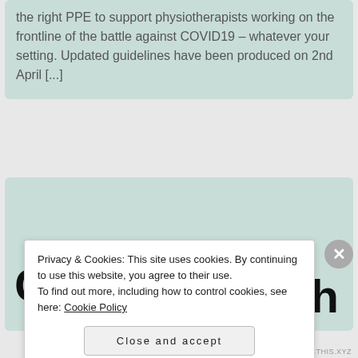the right PPE to support physiotherapists working on the frontline of the battle against COVID19 – whatever your setting. Updated guidelines have been produced on 2nd April [...]
COVID19 ...h
Privacy & Cookies: This site uses cookies. By continuing to use this website, you agree to their use.
To find out more, including how to control cookies, see here: Cookie Policy
Close and accept